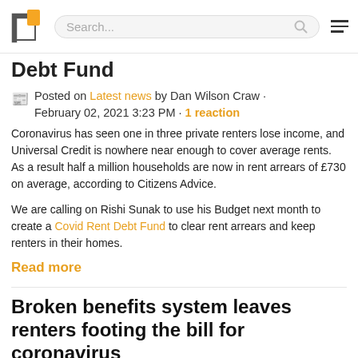Search... [logo] [hamburger menu]
Debt Fund
Posted on Latest news by Dan Wilson Craw · February 02, 2021 3:23 PM · 1 reaction
Coronavirus has seen one in three private renters lose income, and Universal Credit is nowhere near enough to cover average rents. As a result half a million households are now in rent arrears of £730 on average, according to Citizens Advice.
We are calling on Rishi Sunak to use his Budget next month to create a Covid Rent Debt Fund to clear rent arrears and keep renters in their homes.
Read more
Broken benefits system leaves renters footing the bill for coronavirus
Posted on Latest news by Tilly Smith ·